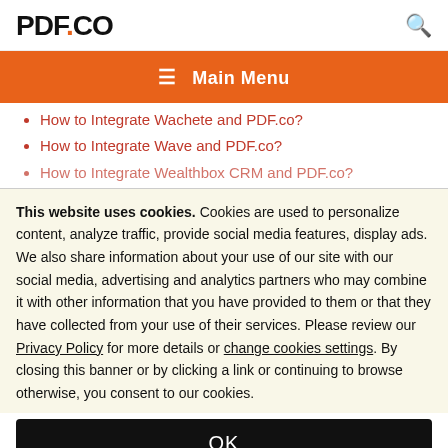PDF.CO
≡ Main Menu
How to Integrate Wachete and PDF.co?
How to Integrate Wave and PDF.co?
How to Integrate Wealthbox CRM and PDF.co?
This website uses cookies. Cookies are used to personalize content, analyze traffic, provide social media features, display ads. We also share information about your use of our site with our social media, advertising and analytics partners who may combine it with other information that you have provided to them or that they have collected from your use of their services. Please review our Privacy Policy for more details or change cookies settings. By closing this banner or by clicking a link or continuing to browse otherwise, you consent to our cookies.
OK